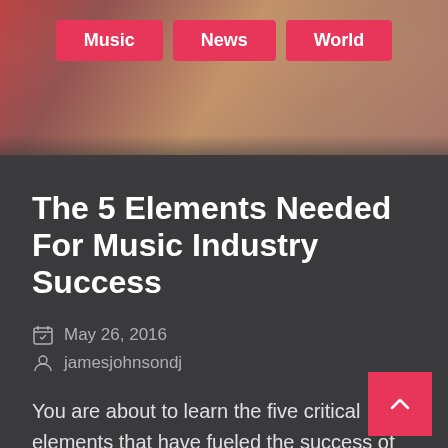[Figure (photo): Hero banner photo of people at a music event, partially visible at the top of the page]
Music  News  World
The 5 Elements Needed For Music Industry Success
May 26, 2016
jamesjohnsondj
You are about to learn the five critical elements that have fueled the success of all great musicians' careers. Until you possess these key elements for yourself, it will be...